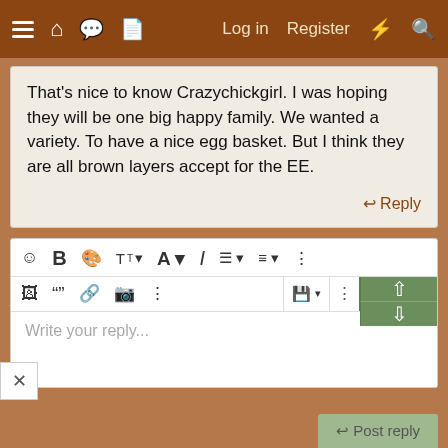[Figure (screenshot): Navigation bar with hamburger menu, home, chat, document icons on left; Log in, Register, lightning bolt, search icons on right, brown background]
That's nice to know Crazychickgirl. I was hoping they will be one big happy family. We wanted a variety. To have a nice egg basket. But I think they are all brown layers accept for the EE.
Reply
[Figure (screenshot): Text editor toolbar with emoji, bold, palette, font size, font color, italic, list, alignment, more options buttons in first row; image, quote, link, media, more, save, upload and collapse/expand buttons in second row; Write your reply... placeholder text area]